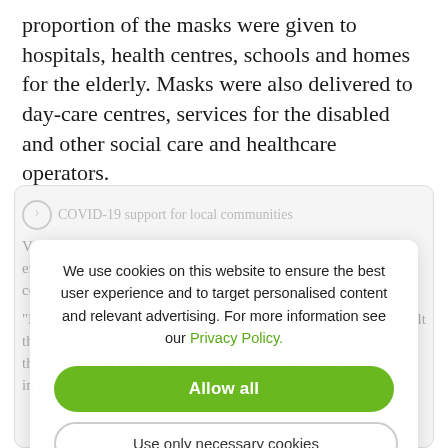proportion of the masks were given to hospitals, health centres, schools and homes for the elderly. Masks were also delivered to day-care centres, services for the disabled and other social care and healthcare operators.
[Figure (screenshot): Cookie consent modal overlay on a webpage. Background shows faded text about COVID-19 support for local communities from Vainu. The modal has text: 'We use cookies on this website to ensure the best user experience and to target personalised content and relevant advertising. For more information see our Privacy Policy.' Two buttons: 'Allow all' (green, rounded) and 'Use only necessary cookies' (outlined, rounded).]